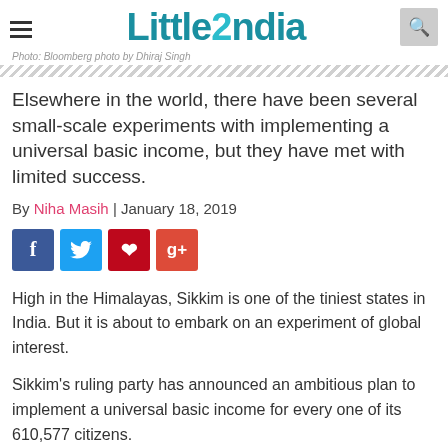Little2ndia
Photo: Bloomberg photo by Dhiraj Singh
Elsewhere in the world, there have been several small-scale experiments with implementing a universal basic income, but they have met with limited success.
By Niha Masih | January 18, 2019
[Figure (infographic): Social media share buttons: Facebook (blue), Twitter (light blue), Pinterest (red), Google+ (orange-red)]
High in the Himalayas, Sikkim is one of the tiniest states in India. But it is about to embark on an experiment of global interest.
Sikkim's ruling party has announced an ambitious plan to implement a universal basic income for every one of its 610,577 citizens.